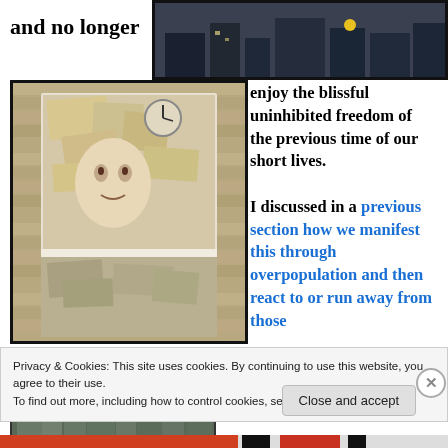and no longer
[Figure (photo): Partial photo at top right, dark urban scene]
[Figure (illustration): Artwork showing a face looking through a window surrounded by papers and clocks, framed image on a wooden wall]
enjoy the blissful uninhibited freedom of the previous time of our short lives.

I discussed in a previous section how we manifest this through overpopulation and then react to or run away from those
[Figure (photo): Aerial view of densely packed urban buildings, overpopulation imagery]
Privacy & Cookies: This site uses cookies. By continuing to use this website, you agree to their use.
To find out more, including how to control cookies, see here: Cookie Policy
Close and accept